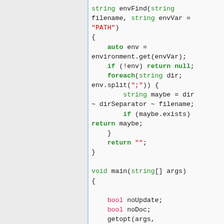[Figure (screenshot): A code listing showing D programming language functions: envFind and main, with syntax highlighting — green for type keywords (string, void, auto, foreach, return, bool), red/pink for string literals and bool keyword, black for other code.]